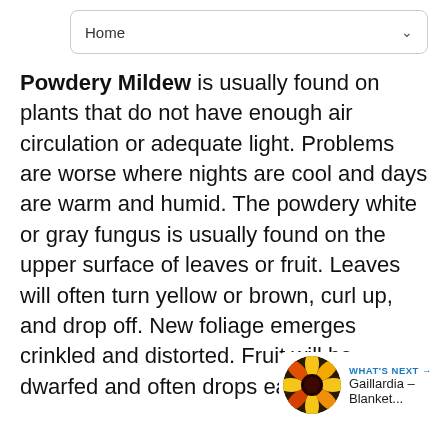Home
Powdery Mildew is usually found on plants that do not have enough air circulation or adequate light. Problems are worse where nights are cool and days are warm and humid. The powdery white or gray fungus is usually found on the upper surface of leaves or fruit. Leaves will often turn yellow or brown, curl up, and drop off. New foliage emerges crinkled and distorted. Fruit will be dwarfed and often drops early.
[Figure (other): Heart/like button (blue circle with heart icon) with count of 1, and a share button below it]
[Figure (other): What's Next panel showing Gaillardia - Blanket... with a flower thumbnail image]